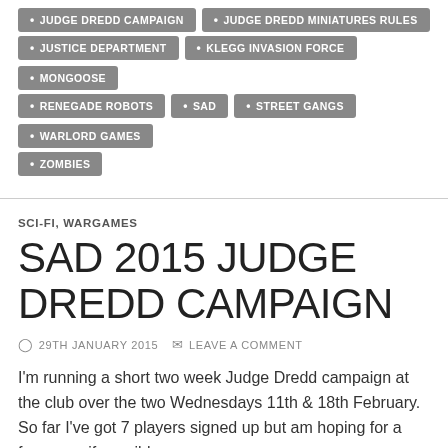JUDGE DREDD CAMPAIGN
JUDGE DREDD MINIATURES RULES
JUSTICE DEPARTMENT
KLEGG INVASION FORCE
MONGOOSE
RENEGADE ROBOTS
SAD
STREET GANGS
WARLORD GAMES
ZOMBIES
SCI-FI, WARGAMES
SAD 2015 JUDGE DREDD CAMPAIGN
29TH JANUARY 2015   LEAVE A COMMENT
I'm running a short two week Judge Dredd campaign at the club over the two Wednesdays 11th & 18th February.  So far I've got 7 players signed up but am hoping for a few more if possible.